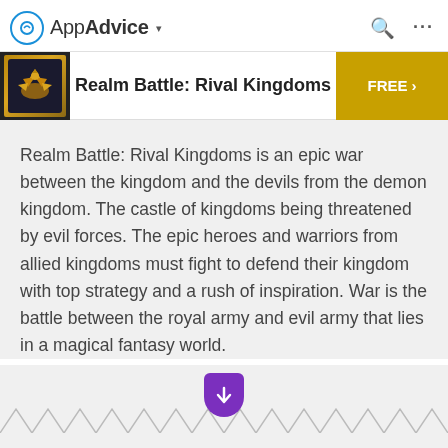AppAdvice
Realm Battle: Rival Kingdoms
Realm Battle: Rival Kingdoms is an epic war between the kingdom and the devils from the demon kingdom. The castle of kingdoms being threatened by evil forces. The epic heroes and warriors from allied kingdoms must fight to defend their kingdom with top strategy and a rush of inspiration. War is the battle between the royal army and evil army that lies in a magical fantasy world.
[Figure (illustration): Scroll down arrow badge with zigzag border decoration]